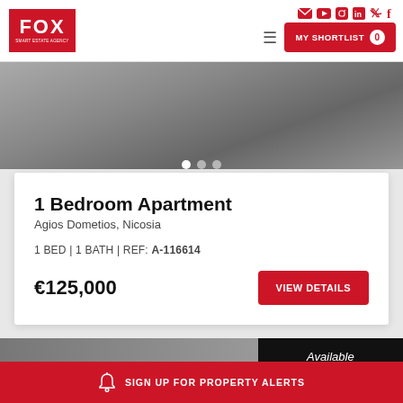[Figure (logo): FOX Smart Estate Agency logo — red background with white FOX text]
MY SHORTLIST 0
[Figure (photo): Hero image of apartment interior in grayscale with image carousel dots]
1 Bedroom Apartment
Agios Dometios, Nicosia
1 BED | 1 BATH | REF: A-116614
€125,000
VIEW DETAILS
[Figure (photo): Second listing photo partially visible at bottom]
Available
SIGN UP FOR PROPERTY ALERTS